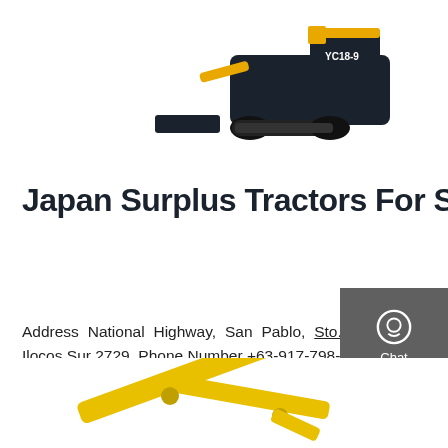[Figure (photo): Yellow and black mini excavator / compact track loader YC18-9 on white background, top portion of the page]
Japan Surplus Tractors For Sale Philippines | Tabasan
Address National Highway, San Pablo, Sto. Domingo, Ilocos Sur 2729. Phone Number +63-917-798-07__ / (077) 604 1393. Email Address tabasanrebuilderscorp@gmail.com
[Figure (other): Sidebar with Chat icon, Email icon, and Contact icon on dark grey background with red divider]
[Figure (photo): Yellow excavator arm/boom partial view at bottom of page]